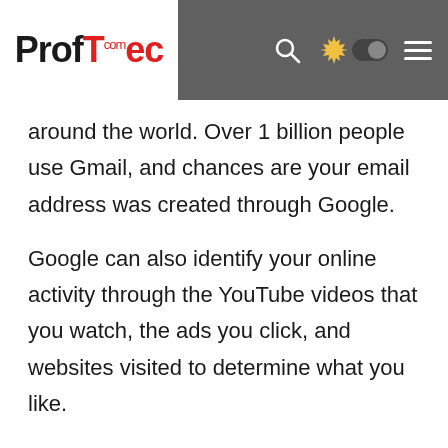ProfTec.com
around the world. Over 1 billion people use Gmail, and chances are your email address was created through Google.
Google can also identify your online activity through the YouTube videos that you watch, the ads you click, and websites visited to determine what you like.
Amazon earns almost $643.5 million per day, which would enable it to buy 261 Boeing aircraft, launch 17 shuttles into space or hold a Netflix